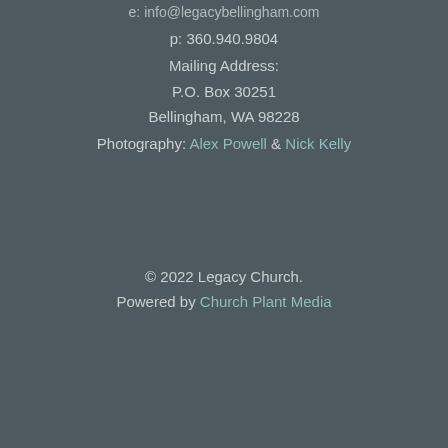e: info@legacybellingham.com
p: 360.940.9804
Mailing Address:
P.O. Box 30251
Bellingham, WA 98228
Photography: Alex Powell & Nick Kelly
© 2022 Legacy Church.
Powered by Church Plant Media